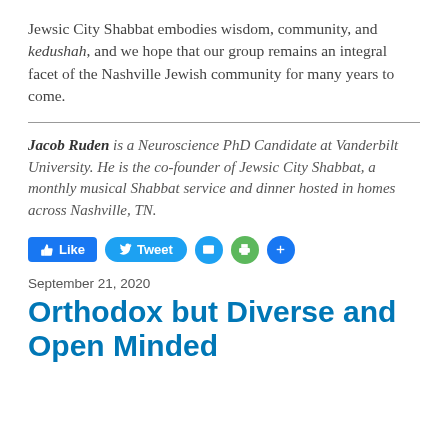Jewsic City Shabbat embodies wisdom, community, and kedushah, and we hope that our group remains an integral facet of the Nashville Jewish community for many years to come.
Jacob Ruden is a Neuroscience PhD Candidate at Vanderbilt University. He is the co-founder of Jewsic City Shabbat, a monthly musical Shabbat service and dinner hosted in homes across Nashville, TN.
September 21, 2020
Orthodox but Diverse and Open Minded